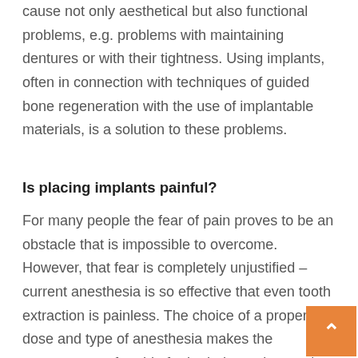cause not only aesthetical but also functional problems, e.g. problems with maintaining dentures or with their tightness. Using implants, often in connection with techniques of guided bone regeneration with the use of implantable materials, is a solution to these problems.
Is placing implants painful?
For many people the fear of pain proves to be an obstacle that is impossible to overcome. However, that fear is completely unjustified – current anesthesia is so effective that even tooth extraction is painless. The choice of a proper dose and type of anesthesia makes the treatment comfortable for both the patient and the